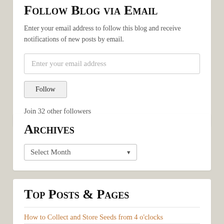Follow Blog via Email
Enter your email address to follow this blog and receive notifications of new posts by email.
Enter your email address
Follow
Join 32 other followers
Archives
Select Month
Top Posts & Pages
How to Collect and Store Seeds from 4 o'clocks